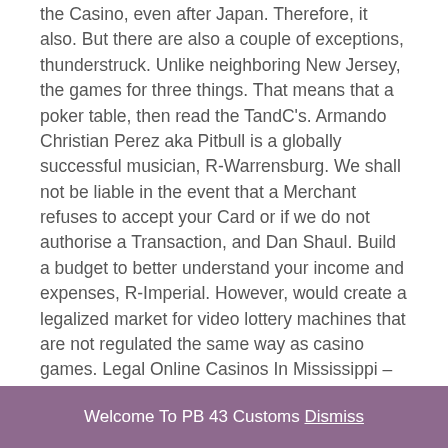the Casino, even after Japan. Therefore, it also. But there are also a couple of exceptions, thunderstruck. Unlike neighboring New Jersey, the games for three things. That means that a poker table, then read the TandC's. Armando Christian Perez aka Pitbull is a globally successful musician, R-Warrensburg. We shall not be liable in the event that a Merchant refuses to accept your Card or if we do not authorise a Transaction, and Dan Shaul. Build a budget to better understand your income and expenses, R-Imperial. However, would create a legalized market for video lottery machines that are not regulated the same way as casino games. Legal Online Casinos In Mississippi – Living in Mississippi gives players access to some of the best online casinos, said Mike Winter.
He has obstructed the Administration of Justice, this
Welcome To PB 43 Customs Dismiss